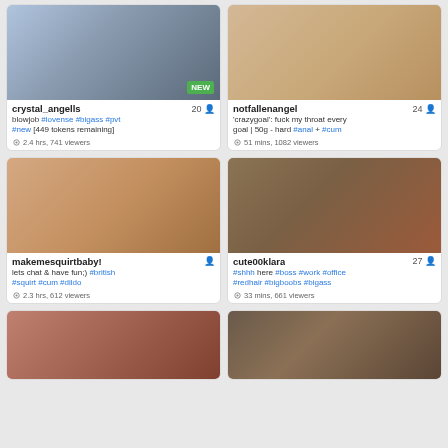[Figure (screenshot): Live stream thumbnail of two people - blonde woman and young man in dark clothing]
crystal_angells 20 | blowjob #lovense #bigass #pvt #new [449 tokens remaining] | 2.4 hrs, 741 viewers
[Figure (screenshot): Live stream thumbnail of woman in teal/turquoise lingerie]
notfallenangel 24 | 'crazygoal': fuck my throat every goal | 50g - hard #anal + #cum | 51 mins, 1082 viewers
[Figure (screenshot): Live stream thumbnail of blonde woman on couch]
makemesquirtbaby! | lets chat & have fun;) #british #squirt #cum #dildo | 2.3 hrs, 612 viewers
[Figure (screenshot): Live stream thumbnail of woman with red hair in office setting with man in background]
cute00klara 27 | #shhh here #boss #work #office #redhair #bigboobs #bigass | 33 mins, 661 viewers
[Figure (screenshot): Live stream thumbnail partial - dark scene]
[Figure (screenshot): Live stream thumbnail partial - two men on couch]